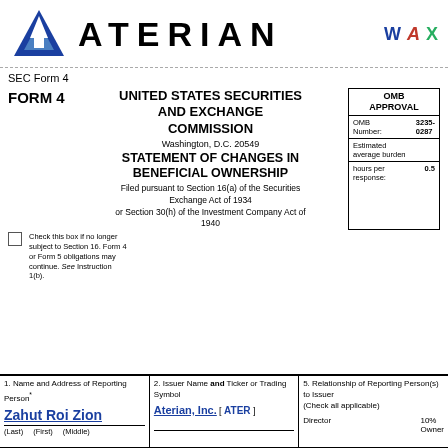[Figure (logo): Aterian company logo: blue triangle with upward arrow, company name ATERIAN in bold black letters, with W A X icons in blue, red, and green in top right]
SEC Form 4
FORM 4   UNITED STATES SECURITIES AND EXCHANGE COMMISSION   Washington, D.C. 20549
STATEMENT OF CHANGES IN BENEFICIAL OWNERSHIP
Filed pursuant to Section 16(a) of the Securities Exchange Act of 1934 or Section 30(h) of the Investment Company Act of 1940
| OMB APPROVAL |
| --- |
| OMB Number: | 3235-0287 |
| Estimated average burden hours per response: | 0.5 |
Check this box if no longer subject to Section 16. Form 4 or Form 5 obligations may continue. See Instruction 1(b).
| 1. Name and Address of Reporting Person* | 2. Issuer Name and Ticker or Trading Symbol | 5. Relationship of Reporting Person(s) to Issuer (Check all applicable) |
| --- | --- | --- |
| Zahut Roi Zion | Aterian, Inc. [ ATER ] | Director   10% Owner |
| (Last)   (First)   (Middle) |  |  |